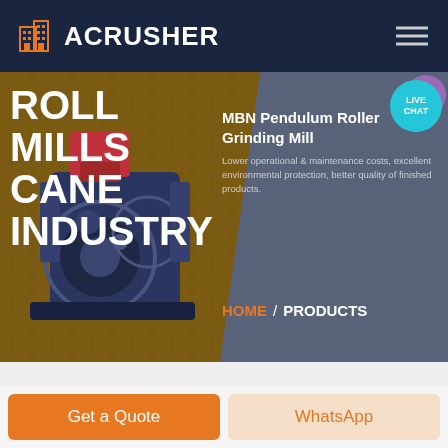ACRUSHER
ROLL MILLS CANE INDUSTRY
MBN Pendulum Roller Grinding Mill
Lower operational & maintenance costs, excellent environmental protection, better quality of finished products.
HOME / PRODUCTS
[Figure (screenshot): ACrusher website hero section showing roll mills cane industry page with machine illustration, navigation, and product info]
Get a Quote
WhatsApp